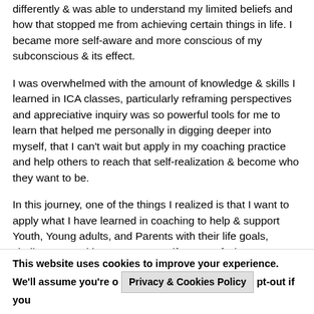differently & was able to understand my limited beliefs and how that stopped me from achieving certain things in life. I became more self-aware and more conscious of my subconscious & its effect.
I was overwhelmed with the amount of knowledge & skills I learned in ICA classes, particularly reframing perspectives and appreciative inquiry was so powerful tools for me to learn that helped me personally in digging deeper into myself, that I can't wait but apply in my coaching practice and help others to reach that self-realization & become who they want to be.
In this journey, one of the things I realized is that I want to apply what I have learned in coaching to help & support Youth, Young adults, and Parents with their life goals, challenges, and become more self-aware of who
This website uses cookies to improve your experience. We'll assume you're o... Privacy & Cookies Policy ...pt-out if you